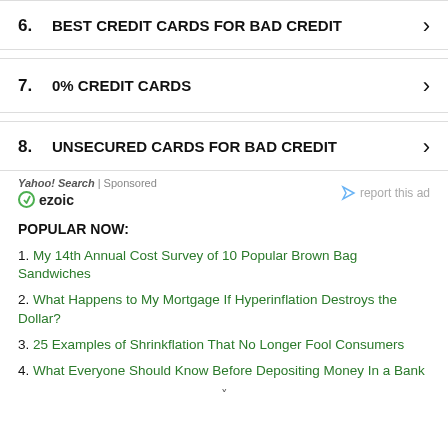6. BEST CREDIT CARDS FOR BAD CREDIT
7. 0% CREDIT CARDS
8. UNSECURED CARDS FOR BAD CREDIT
Yahoo! Search | Sponsored   ezoic   report this ad
POPULAR NOW:
1. My 14th Annual Cost Survey of 10 Popular Brown Bag Sandwiches
2. What Happens to My Mortgage If Hyperinflation Destroys the Dollar?
3. 25 Examples of Shrinkflation That No Longer Fool Consumers
4. What Everyone Should Know Before Depositing Money In a Bank